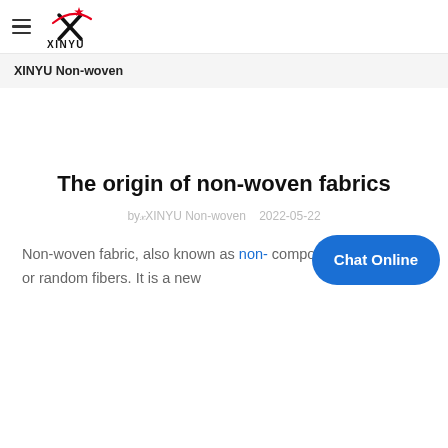XINYU Non-woven (logo + hamburger menu)
XINYU Non-woven
The origin of non-woven fabrics
by XINYU Non-woven   2022-05-22
Non-woven fabric, also known as non- composed of directional or random fibers. It is a new